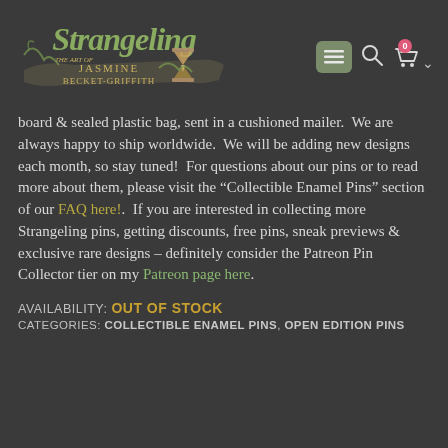[Figure (logo): Strangeling logo - The Art of Jasmine Becket-Griffith, with decorative script lettering and hourglass icon]
board & sealed plastic bag, sent in a cushioned mailer.  We are always happy to ship worldwide.  We will be adding new designs each month, so stay tuned!  For questions about our pins or to read more about them, please visit the “Collectible Enamel Pins” section of our FAQ here!.  If you are interested in collecting more Strangeling pins, getting discounts, free pins, sneak previews & exclusive rare designs – definitely consider the Patreon Pin Collector tier on my Patreon page here.
AVAILABILITY: OUT OF STOCK
CATEGORIES: COLLECTIBLE ENAMEL PINS, OPEN EDITION PINS